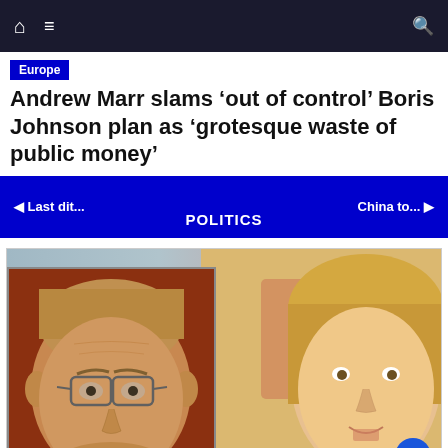Navigation bar with home, menu, and search icons
Europe
Andrew Marr slams ‘out of control’ Boris Johnson plan as ‘grotesque waste of public money’
◄ Last dit...   POLITICS   China to... ►
[Figure (photo): Composite image showing Andrew Marr (older man with glasses on left) and Liz Truss (blonde woman on right) side by side]